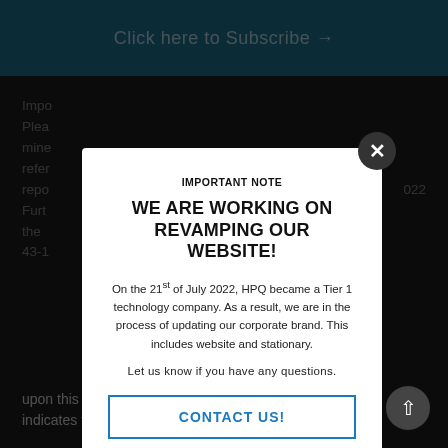Click here to Subscribe →
Impo... Plea... mine... refer... repo... 022 Furt... the ... on 43-1...
upon this information unless HPQ Silicon specifically indicates that they are NI 43-101 compliant.
IMPORTANT NOTE
WE ARE WORKING ON REVAMPING OUR WEBSITE!
On the 21st of July 2022, HPQ became a Tier 1 technology company. As a result, we are in the process of updating our corporate brand. This includes website and stationary.
Let us know if you have any questions.
CONTACT US!